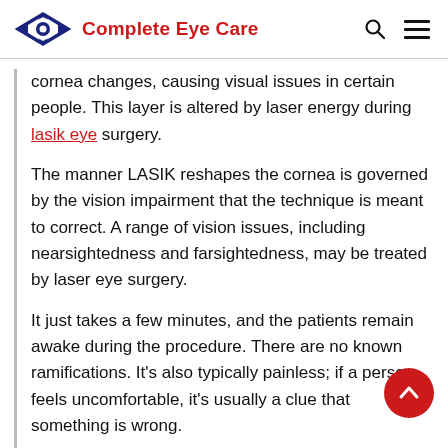Complete Eye Care
cornea changes, causing visual issues in certain people. This layer is altered by laser energy during lasik eye surgery.
The manner LASIK reshapes the cornea is governed by the vision impairment that the technique is meant to correct. A range of vision issues, including nearsightedness and farsightedness, may be treated by laser eye surgery.
It just takes a few minutes, and the patients remain awake during the procedure. There are no known ramifications. It’s also typically painless; if a person feels uncomfortable, it’s usually a clue that something is wrong.
This article explains what LASIK is, who it can help,